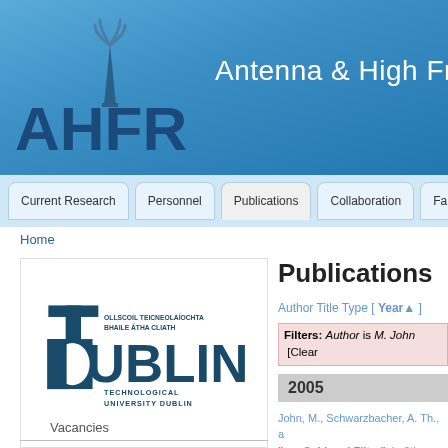[Figure (logo): AHFR Antenna & High Frequency Research group logo with tower icon and text 'Antenna & High Fre...' on blue background]
Current Research | Personnel | Publications | Collaboration | Fa...
Home
[Figure (logo): TU Dublin logo - Technological University Dublin, Ollscoil Teicneolaíochta Bhaile Átha Cliath]
Publications
Author Title Type [ Year▲ ]
Filters: Author is M. John [Clear
2005
John, M., Schwarzbacher, A. Th., a "...a Subband Filter", in 8th Intern...
Vacancies